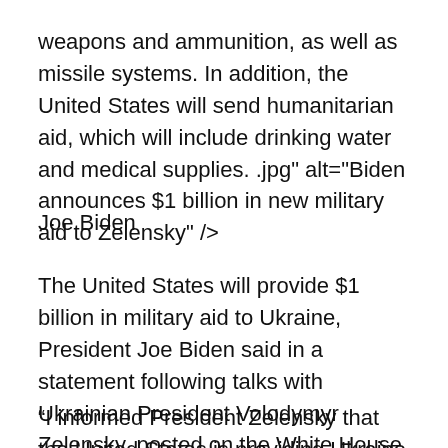weapons and ammunition, as well as missile systems. In addition, the United States will send humanitarian aid, which will include drinking water and medical supplies. .jpg" alt="Biden announces $1 billion in new military aid to Zelensky" />
Joe Biden
The United States will provide $1 billion in military aid to Ukraine, President Joe Biden said in a statement following talks with Ukrainian President Volodymyr Zelensky, posted on the White House website.
“I informed President Zelensky that the United States is providing Ukraine with another $1 billion in security assistance, including more artillery and coast guards, as well as ammunition for artillery